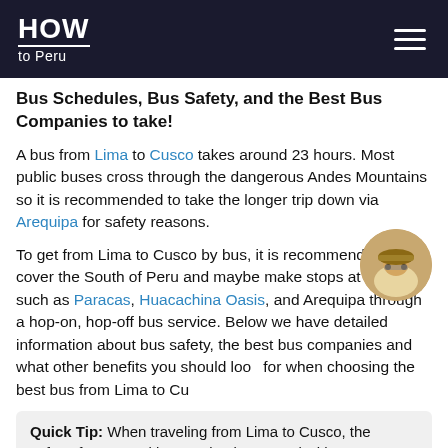HOW to Peru
Bus Schedules, Bus Safety, and the Best Bus Companies to take!
A bus from Lima to Cusco takes around 23 hours. Most public buses cross through the dangerous Andes Mountains so it is recommended to take the longer trip down via Arequipa for safety reasons.
To get from Lima to Cusco by bus, it is recommended to cover the South of Peru and maybe make stops at places such as Paracas, Huacachina Oasis, and Arequipa through a hop-on, hop-off bus service. Below we have detailed information about bus safety, the best bus companies and what other benefits you should look for when choosing the best bus from Lima to Cusco.
Quick Tip: When traveling from Lima to Cusco, the safest, fastest and best option is to travel with Peru Hop. A hop...